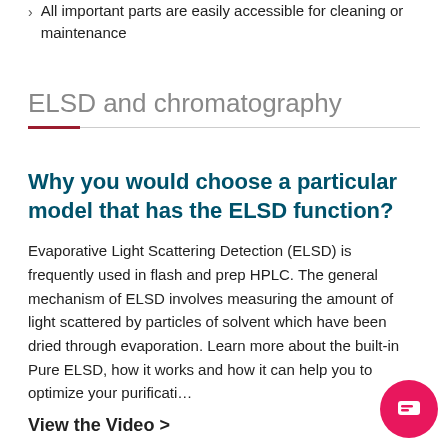All important parts are easily accessible for cleaning or maintenance
ELSD and chromatography
Why you would choose a particular model that has the ELSD function?
Evaporative Light Scattering Detection (ELSD) is frequently used in flash and prep HPLC. The general mechanism of ELSD involves measuring the amount of light scattered by particles of solvent which have been dried through evaporation. Learn more about the built-in Pure ELSD, how it works and how it can help you to optimize your purificati…
View the Video >